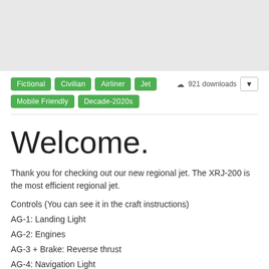[Figure (photo): Gray image placeholder area at top of page]
Fictional  Civilian  Airliner  Jet  Mobile Friendly  Decade-2020s  921 downloads
Welcome.
Thank you for checking out our new regional jet. The XRJ-200 is the most efficient regional jet.
Controls (You can see it in the craft instructions)
AG-1: Landing Light
AG-2: Engines
AG-3 + Brake: Reverse thrust
AG-4: Navigation Light